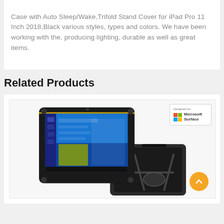Case with Auto Sleep/Wake,Trifold Stand Cover for iPad Pro 11 Inch 2018,Black various styles, types and colors. We have been working with the, producing lighting, durable as well as great items.
Related Products
[Figure (photo): Product photo of a rugged tablet case/enclosure for Microsoft Surface, showing the tablet with Windows 10 interface displayed and a back view with shoulder strap harness. A 'Designed for Microsoft Surface' badge is shown in the top right.]